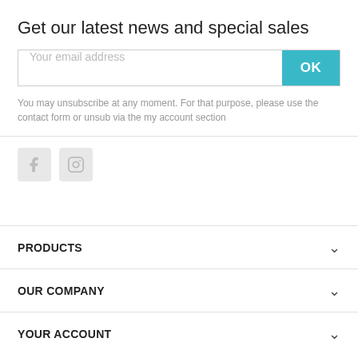Get our latest news and special sales
Your email address
OK
You may unsubscribe at any moment. For that purpose, please use the contact form or unsub via the my account section
[Figure (illustration): Facebook and Instagram social media icons in light grey square rounded boxes]
PRODUCTS
OUR COMPANY
YOUR ACCOUNT